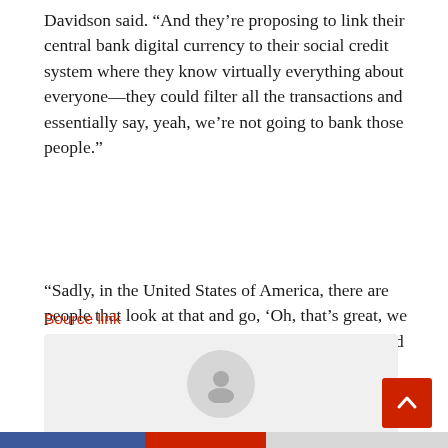Davidson said. “And they’re proposing to link their central bank digital currency to their social credit system where they know virtually everything about everyone—they could filter all the transactions and essentially say, yeah, we’re not going to bank those people.”
“Sadly, in the United States of America, there are people that look at that and go, ‘Oh, that’s great, we would love to have it.’ That’s scary,” Davidson told NTD News in an interview.
Source link
[Figure (illustration): Author box with a circular grey avatar icon and text reading 'Author: Tom Ozimek' on a light grey background. A red scroll-to-top button with an upward arrow chevron appears to the right.]
Colored bar footer: blue, red, light grey segments